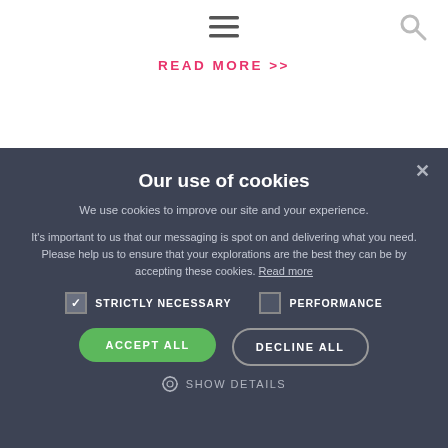[Figure (screenshot): Hamburger menu icon (three horizontal lines) centered in nav bar]
[Figure (screenshot): Search icon (magnifying glass) in top right of nav bar]
READ MORE >>
Our use of cookies
We use cookies to improve our site and your experience.
It's important to us that our messaging is spot on and delivering what you need. Please help us to ensure that your explorations are the best they can be by accepting these cookies. Read more
STRICTLY NECESSARY (checked)
PERFORMANCE (unchecked)
ACCEPT ALL
DECLINE ALL
SHOW DETAILS